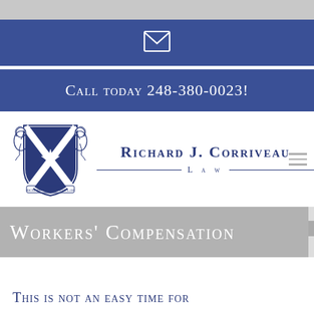Call today 248-380-0023!
[Figure (logo): Richard J. Corriveau Law firm crest/shield logo with two lions and a blue X cross, alongside the firm name 'Richard J. Corriveau Law']
Workers' Compensation
This is not an easy time for